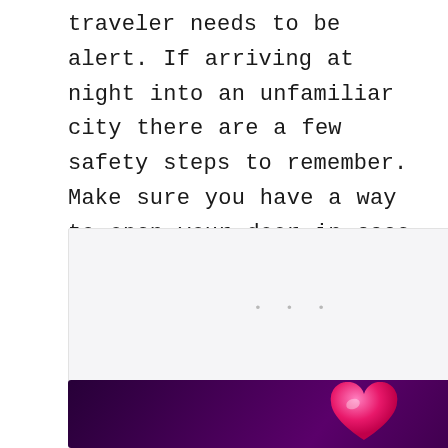traveler needs to be alert. If arriving at night into an unfamiliar city there are a few safety steps to remember. Make sure you have a way to open your door in case of emergency.
[Figure (other): A light gray content/ad placeholder box with three small dots indicating loading or an ad unit. On the right side there is a teal heart/like button with a heart icon, a like count of 2, and a share icon button. A 'WHAT'S NEXT' navigation panel shows a thumbnail image and text 'Complete Guide for So...']
[Figure (other): A dark purple/violet banner advertisement with a pink glossy heart icon centered, and a small logo text at the bottom right corner.]